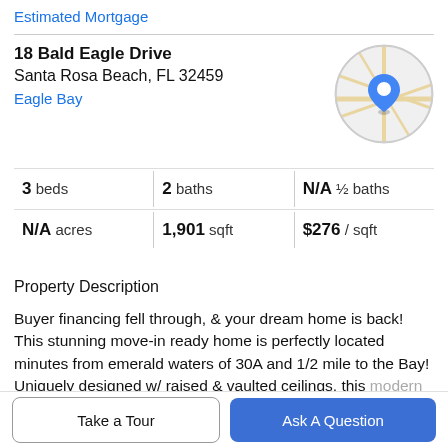Estimated Mortgage
18 Bald Eagle Drive
Santa Rosa Beach, FL 32459
Eagle Bay
[Figure (map): Circular map thumbnail showing street map with a blue location pin marker in the center area, roads shown in yellow/beige on light gray background.]
| 3 beds | 2 baths | N/A ½ baths |
| N/A acres | 1,901 sqft | $276 / sqft |
Property Description
Buyer financing fell through, & your dream home is back! This stunning move-in ready home is perfectly located minutes from emerald waters of 30A and 1/2 mile to the Bay! Uniquely designed w/ raised & vaulted ceilings, this modern home features engineered hardwood floors,
Take a Tour
Ask A Question